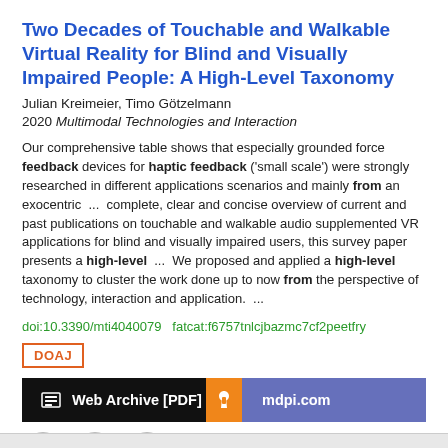Two Decades of Touchable and Walkable Virtual Reality for Blind and Visually Impaired People: A High-Level Taxonomy
Julian Kreimeier, Timo Götzelmann
2020 Multimodal Technologies and Interaction
Our comprehensive table shows that especially grounded force feedback devices for haptic feedback ('small scale') were strongly researched in different applications scenarios and mainly from an exocentric  ...  complete, clear and concise overview of current and past publications on touchable and walkable audio supplemented VR applications for blind and visually impaired users, this survey paper presents a high-level  ...  We proposed and applied a high-level taxonomy to cluster the work done up to now from the perspective of technology, interaction and application.  ...
doi:10.3390/mti4040079  fatcat:f6757tnlcjbazmc7cf2peetfry
DOAJ
Web Archive [PDF]
mdpi.com